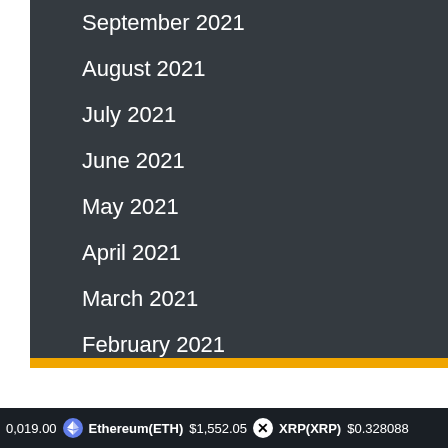September 2021
August 2021
July 2021
June 2021
May 2021
April 2021
March 2021
February 2021
January 2021
0,019.00   Ethereum(ETH) $1,552.05   XRP(XRP) $0.328088